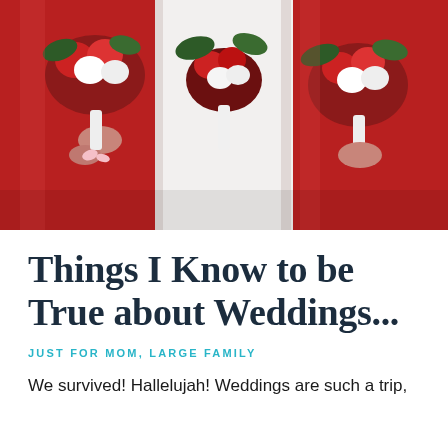[Figure (photo): Wedding photo showing a bride in a white dress flanked by bridesmaids in red satin dresses, all holding bouquets of red roses, white flowers, and greenery.]
Things I Know to be True about Weddings...
JUST FOR MOM, LARGE FAMILY
We survived! Hallelujah! Weddings are such a trip,